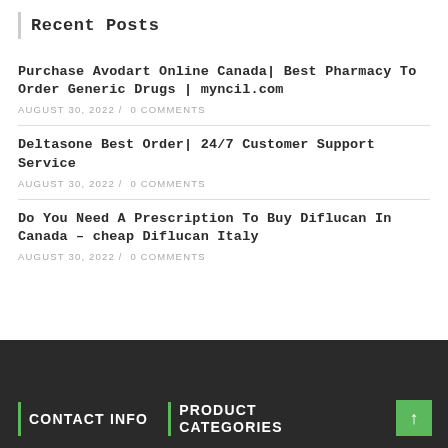Recent Posts
Purchase Avodart Online Canada| Best Pharmacy To Order Generic Drugs | myncil.com
AUGUST 30, 2022 /  0 COMMENTS
Deltasone Best Order| 24/7 Customer Support Service
AUGUST 30, 2022 /  0 COMMENTS
Do You Need A Prescription To Buy Diflucan In Canada – cheap Diflucan Italy
AUGUST 30, 2022 /  0 COMMENTS
CONTACT INFO   PRODUCT CATEGORIES